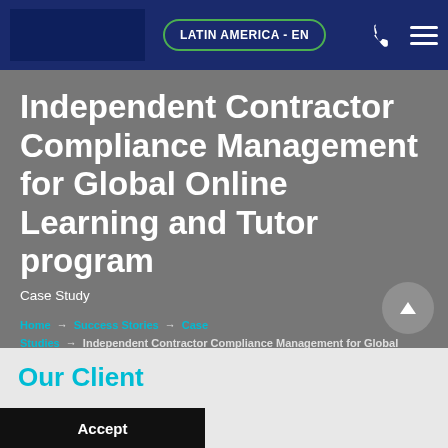LATIN AMERICA - EN
Independent Contractor Compliance Management for Global Online Learning and Tutor program
Case Study
Home → Success Stories → Case Studies → Independent Contractor Compliance Management for Global Online Learning and Tutor program
Our Client
Read Policy
Accept
CYC's cli... ...try leading global language